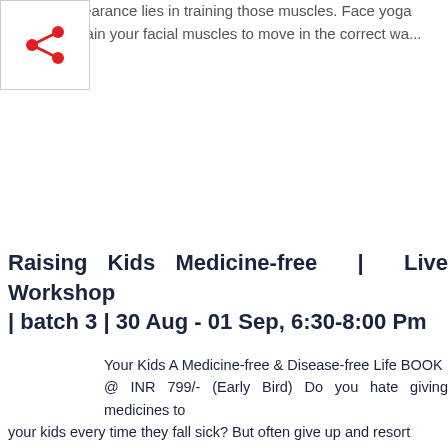radiant appearance lies in training those muscles. Face yoga helps you train your facial muscles to move in the correct wa...
Raising Kids Medicine-free | Live Workshop | batch 3 | 30 Aug - 01 Sep, 6:30-8:00 Pm
Your Kids A Medicine-free & Disease-free Life BOOK @ INR 799/- (Early Bird) Do you hate giving medicines to your kids every time they fall sick? But often give up and resort to pills as there's no other option. Do you think herbal home remedies can only provide relief and not cure kids of a...